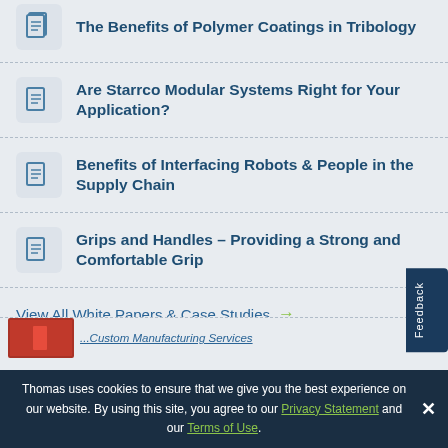The Benefits of Polymer Coatings in Tribology
Are Starrco Modular Systems Right for Your Application?
Benefits of Interfacing Robots & People in the Supply Chain
Grips and Handles – Providing a Strong and Comfortable Grip
View All White Papers & Case Studies →
[Figure (illustration): Red book/catalog thumbnail with partially visible text about Custom Manufacturing Services]
Thomas uses cookies to ensure that we give you the best experience on our website. By using this site, you agree to our Privacy Statement and our Terms of Use.